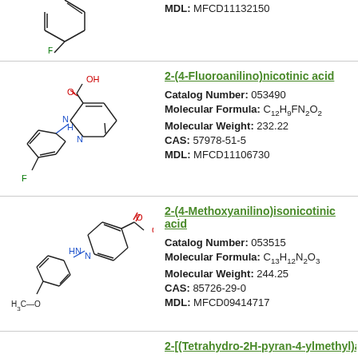[Figure (illustration): Partial chemical structure of a fluorinated compound (top of page, cut off)]
MDL: MFCD11132150
[Figure (illustration): Chemical structure of 2-(4-Fluoroanilino)nicotinic acid showing pyridine ring with NH group linked to fluorophenyl ring and carboxylic acid group]
2-(4-Fluoroanilino)nicotinic acid
Catalog Number: 053490
Molecular Formula: C12H9FN2O2
Molecular Weight: 232.22
CAS: 57978-51-5
MDL: MFCD11106730
[Figure (illustration): Chemical structure of 2-(4-Methoxyanilino)isonicotinic acid showing pyridine ring with NH group linked to methoxyphenyl ring and carboxylic acid group]
2-(4-Methoxyanilino)isonicotinic acid
Catalog Number: 053515
Molecular Formula: C13H12N2O3
Molecular Weight: 244.25
CAS: 85726-29-0
MDL: MFCD09414717
2-[(Tetrahydro-2H-pyran-4-ylmethyl)a...